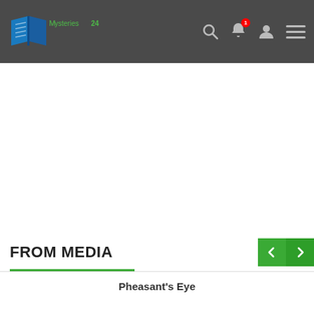Mysteries24.com
[Figure (screenshot): White advertisement/blank area below navigation bar]
FROM MEDIA
Pheasant's Eye